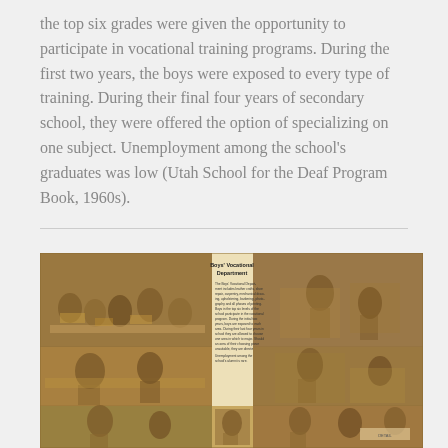the top six grades were given the opportunity to participate in vocational training programs. During the first two years, the boys were exposed to every type of training. During their final four years of secondary school, they were offered the option of specializing on one subject. Unemployment among the school's graduates was low (Utah School for the Deaf Program Book, 1960s).
[Figure (photo): A newspaper-style collage of sepia-toned photographs showing boys in vocational workshops, with a central text block titled 'Boys' Vocational Department' describing the program including leather crafts, shoe repair, carpentry, mechanical drawing, upholstering, barbering, photography and all phases of printing.]